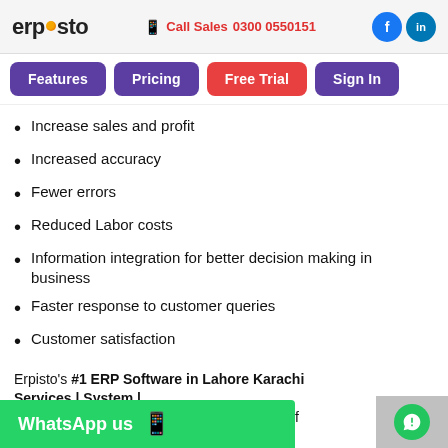ERPOSTO | Call Sales 0300 0550151
Increase sales and profit
Increased accuracy
Fewer errors
Reduced Labor costs
Information integration for better decision making in business
Faster response to customer queries
Customer satisfaction
Erpisto's #1 ERP Software in Lahore Karachi Services | System | Company | Solution integrates a large mix of